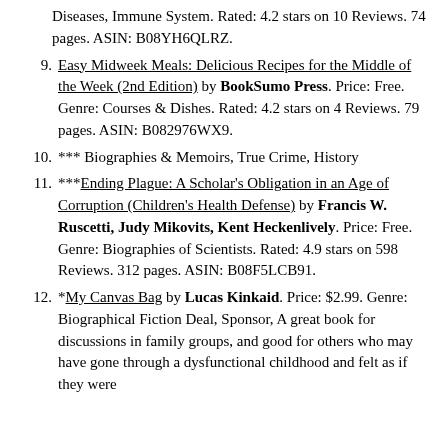Diseases, Immune System. Rated: 4.2 stars on 10 Reviews. 74 pages. ASIN: B08YH6QLRZ.
9. Easy Midweek Meals: Delicious Recipes for the Middle of the Week (2nd Edition) by BookSumo Press. Price: Free. Genre: Courses & Dishes. Rated: 4.2 stars on 4 Reviews. 79 pages. ASIN: B082976WX9.
10. *** Biographies & Memoirs, True Crime, History
11. ***Ending Plague: A Scholar's Obligation in an Age of Corruption (Children's Health Defense) by Francis W. Ruscetti, Judy Mikovits, Kent Heckenlively. Price: Free. Genre: Biographies of Scientists. Rated: 4.9 stars on 598 Reviews. 312 pages. ASIN: B08F5LCB91.
12. *My Canvas Bag by Lucas Kinkaid. Price: $2.99. Genre: Biographical Fiction Deal, Sponsor, A great book for discussions in family groups, and good for others who may have gone through a dysfunctional childhood and felt as if they were